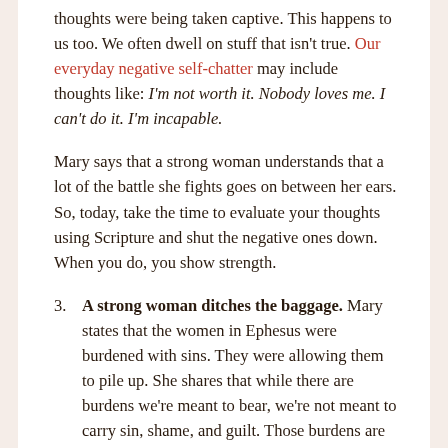thoughts were being taken captive. This happens to us too. We often dwell on stuff that isn't true. Our everyday negative self-chatter may include thoughts like: I'm not worth it. Nobody loves me. I can't do it. I'm incapable.
Mary says that a strong woman understands that a lot of the battle she fights goes on between her ears. So, today, take the time to evaluate your thoughts using Scripture and shut the negative ones down. When you do, you show strength.
3. A strong woman ditches the baggage. Mary states that the women in Ephesus were burdened with sins. They were allowing them to pile up. She shares that while there are burdens we're meant to bear, we're not meant to carry sin, shame, and guilt. Those burdens are supposed to be taken to the cross daily.